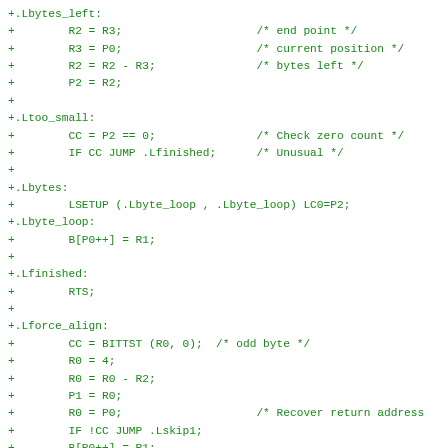+.Lbytes_left:
+        R2 = R3;                    /* end point */
+        R3 = P0;                    /* current position */
+        R2 = R2 - R3;               /* bytes left */
+        P2 = R2;
+
+.Ltoo_small:
+        CC = P2 == 0;               /* Check zero count */
+        IF CC JUMP .Lfinished;      /* Unusual */
+
+.Lbytes:
+        LSETUP (.Lbyte_loop , .Lbyte_loop) LC0=P2;
+.Lbyte_loop:
+        B[P0++] = R1;
+
+.Lfinished:
+        RTS;
+
+.Lforce_align:
+        CC = BITTST (R0, 0);  /* odd byte */
+        R0 = 4;
+        R0 = R0 - R2;
+        P1 = R0;
+        R0 = P0;                    /* Recover return address
+        IF !CC JUMP .Lskip1;
+        B[P0++] = R1;